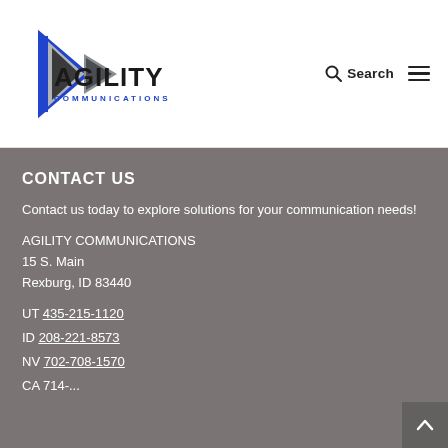[Figure (logo): Agility Communications logo with triangular arrow icon in blue and silver/black, with company name AGILITY in bold black and COMMUNICATIONS in blue spaced text below]
Search
CONTACT US
Contact us today to explore solutions for your communication needs!
AGILITY COMMUNICATIONS
15 S. Main
Rexburg, ID 83440
UT 435-215-1120
ID 208-221-8573
NV 702-708-1570
CA 714-...